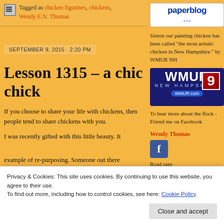Tagged as chicken figurines, chickens, Wendy E.N. Thomas
[Figure (logo): Paperblog logo - white box with blue paperblog text and dots]
Simon our painting chicken has been called "the most artistic chicken in New Hampshire." by WMUR NH
[Figure (logo): WMUR Channel 9 New Hampshire TV station logo with blue background]
To hear more about the flock - Friend me on Facebook
Wendy Thomas
[Figure (logo): Facebook icon button]
Road rage
SEPTEMBER 9, 2015 · 2:20 PM
Lesson 1315 – a chic chick
If you choose to share your life with chickens, then people tend to share chickens with you.
I was recently gifted with this little beauty. It
example of re-purposing. Someone out there
Privacy & Cookies: This site uses cookies. By continuing to use this website, you agree to their use.
To find out more, including how to control cookies, see here: Cookie Policy
Close and accept